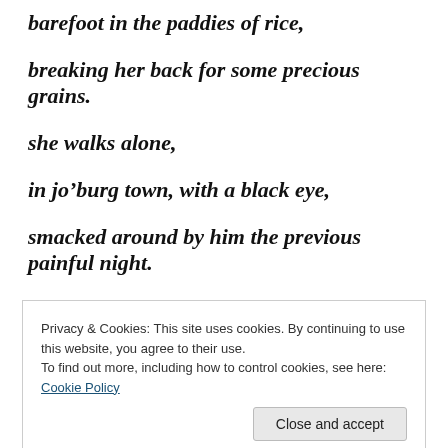barefoot in the paddies of rice,
breaking her back for some precious grains.
she walks alone,
in jo’burg town, with a black eye,
smacked around by him the previous painful night.
she walks alone,
in the streets of neon hazed manila,
Privacy & Cookies: This site uses cookies. By continuing to use this website, you agree to their use. To find out more, including how to control cookies, see here: Cookie Policy
Close and accept